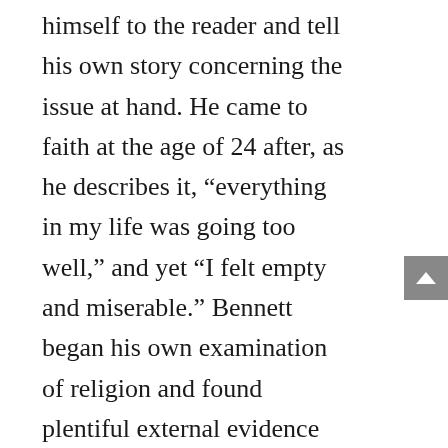himself to the reader and tell his own story concerning the issue at hand. He came to faith at the age of 24 after, as he describes it, “everything in my life was going too well,” and yet “I felt empty and miserable.” Bennett began his own examination of religion and found plentiful external evidence for the validity of Christianity, including non-Christian historians affirming the existence of Jesus and textual evidence affirming the transmission of the New Testament. But he still couldn’t believe until the Holy Spirit worked on him for a period of about eighteen months until finally he realized “I do not want to live my